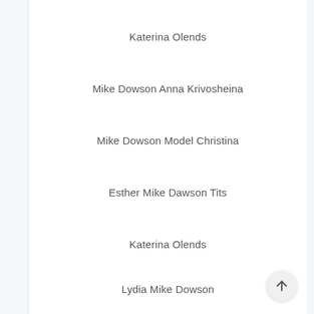Katerina Olends
Mike Dowson Anna Krivosheina
Mike Dowson Model Christina
Esther Mike Dawson Tits
Katerina Olends
Lydia Mike Dowson